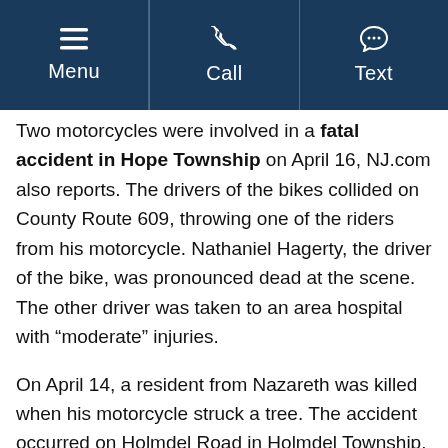Menu | Call | Text
Two motorcycles were involved in a fatal accident in Hope Township on April 16, NJ.com also reports. The drivers of the bikes collided on County Route 609, throwing one of the riders from his motorcycle. Nathaniel Hagerty, the driver of the bike, was pronounced dead at the scene. The other driver was taken to an area hospital with “moderate” injuries.
On April 14, a resident from Nazareth was killed when his motorcycle struck a tree. The accident occurred on Holmdel Road in Holmdel Township. The crash occurred in the early morning hours and the driver of the motorcycle, Filip Simon, 39, was